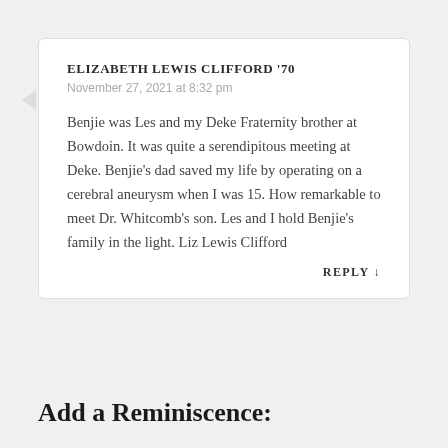ELIZABETH LEWIS CLIFFORD '70
November 27, 2021 at 8:32 pm
Benjie was Les and my Deke Fraternity brother at Bowdoin. It was quite a serendipitous meeting at Deke. Benjie’s dad saved my life by operating on a cerebral aneurysm when I was 15. How remarkable to meet Dr. Whitcomb’s son. Les and I hold Benjie’s family in the light. Liz Lewis Clifford
REPLY ↓
Add a Reminiscence: